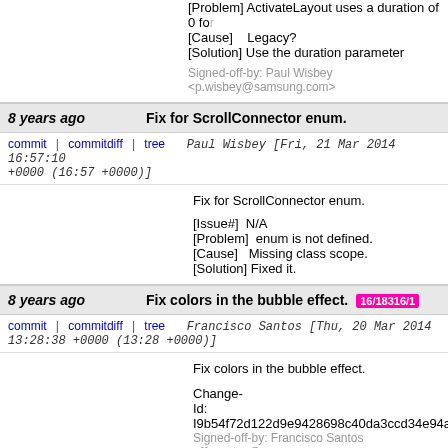[Problem] ActivateLayout uses a duration of 0 fo...
[Cause]   Legacy?
[Solution] Use the duration parameter

Signed-off-by: Paul Wisbey <p.wisbey@samsung.com>
8 years ago   Fix for ScrollConnector enum.
commit | commitdiff | tree   Paul Wisbey [Fri, 21 Mar 2014 16:57:10 +0000 (16:57 +0000)]
Fix for ScrollConnector enum.

[Issue#]  N/A
[Problem]  enum is not defined.
[Cause]   Missing class scope.
[Solution] Fixed it.
8 years ago   Fix colors in the bubble effect.  16/18316/1
commit | commitdiff | tree   Francisco Santos [Thu, 20 Mar 2014 13:28:38 +0000 (13:28 +0000)]
Fix colors in the bubble effect.

Change-Id: I9b54f72d122d9e9428698c40da3ccd34e94a52...
Signed-off-by: Francisco Santos <f1.santos@samsung.com>